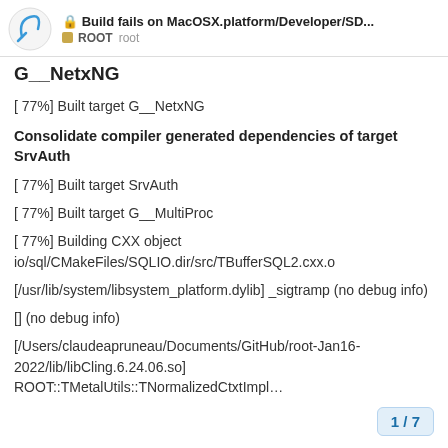Build fails on MacOSX.platform/Developer/SD... ROOT root
G__NetxNG
[ 77%] Built target G__NetxNG
Consolidate compiler generated dependencies of target SrvAuth
[ 77%] Built target SrvAuth
[ 77%] Built target G__MultiProc
[ 77%] Building CXX object io/sql/CMakeFiles/SQLIO.dir/src/TBufferSQL2.cxx.o
[/usr/lib/system/libsystem_platform.dylib] _sigtramp (no debug info)
[] (no debug info)
[/Users/claudeapruneau/Documents/GitHub/root-Jan16-2022/lib/libCling.6.24.06.so]
ROOT::TMetalUtils::TNormalizedCtxtImpl…
1 / 7